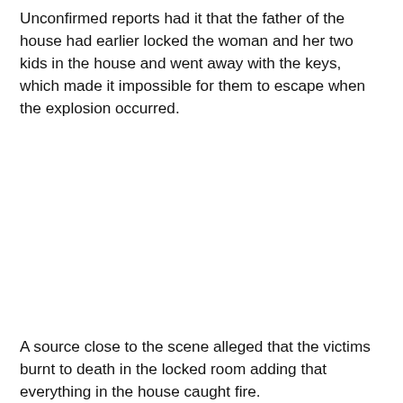Unconfirmed reports had it that the father of the house had earlier locked the woman and her two kids in the house and went away with the keys, which made it impossible for them to escape when the explosion occurred.
A source close to the scene alleged that the victims burnt to death in the locked room adding that everything in the house caught fire.